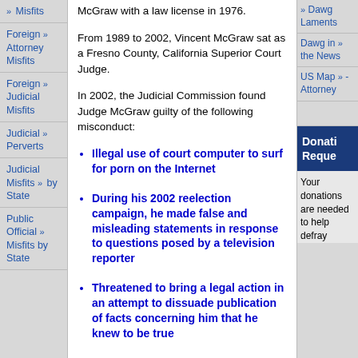Misfits
Foreign Attorney Misfits
Foreign Judicial Misfits
Judicial Perverts
Judicial Misfits by State
Public Official Misfits by State
McGraw with a law license in 1976.
From 1989 to 2002, Vincent McGraw sat as a Fresno County, California Superior Court Judge.
In 2002, the Judicial Commission found Judge McGraw guilty of the following misconduct:
Illegal use of court computer to surf for porn on the Internet
During his 2002 reelection campaign, he made false and misleading statements in response to questions posed by a television reporter
Threatened to bring a legal action in an attempt to dissuade publication of facts concerning him that he knew to be true
Dawg Laments
Dawg in the News
US Map - Attorney
Donation Request
Your donations are needed to help defray